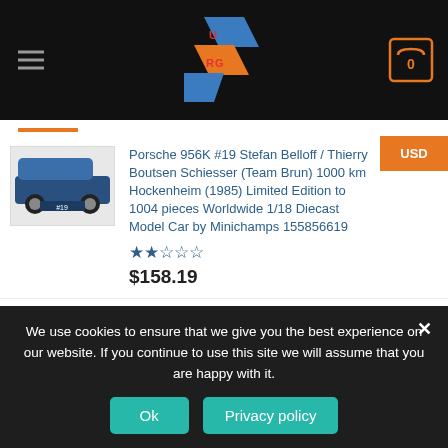[Figure (screenshot): E-commerce website header with hamburger menu, URG logo, and shopping cart icon showing 0 items]
[Figure (photo): Porsche 956K scale model car, blue, in box]
Porsche 956K #19 Stefan Belloff / Thierry Boutsen Schiesser (Team Brun) 1000 km Hockenheim (1985) Limited Edition to 1004 pieces Worldwide 1/18 Diecast Model Car by Minichamps 155856619
$158.19
[Figure (photo): 212 Men after shave product bottles]
212 After Shave 3.4 Oz For Men
$68.78
We use cookies to ensure that we give you the best experience on our website. If you continue to use this site we will assume that you are happy with it.